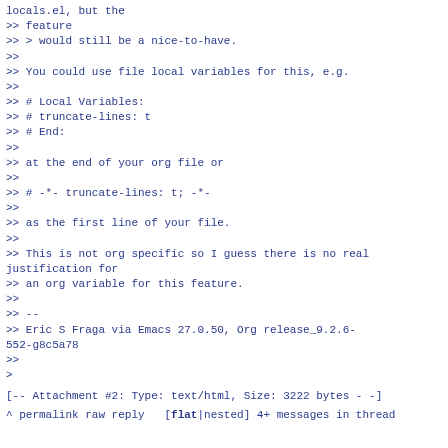locals.el, but the
>> feature
>> > would still be a nice-to-have.
>>
>> You could use file local variables for this, e.g.
>>
>> # Local Variables:
>> # truncate-lines: t
>> # End:
>>
>> at the end of your org file or
>>
>> # -*- truncate-lines: t; -*-
>>
>> as the first line of your file.
>>
>> This is not org specific so I guess there is no real justification for
>> an org variable for this feature.
>>
>> --
>> Eric S Fraga via Emacs 27.0.50, Org release_9.2.6-552-g8c5a78
>>
>
[-- Attachment #2: Type: text/html, Size: 3222 bytes --]
^ permalink raw reply  [flat|nested] 4+ messages in thread